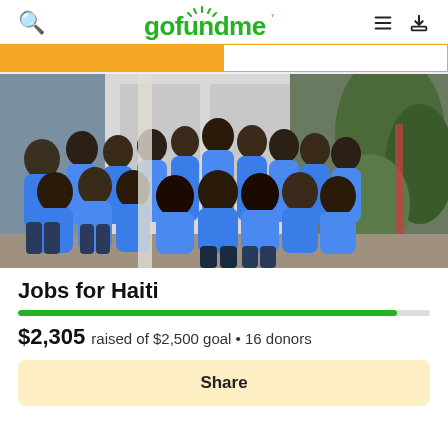gofundme
[Figure (photo): Group photo of approximately 20-25 people wearing matching blue t-shirts, posing together in front of a white door/building with tropical plants visible on the right side.]
Jobs for Haiti
$2,305 raised of $2,500 goal • 16 donors
Share